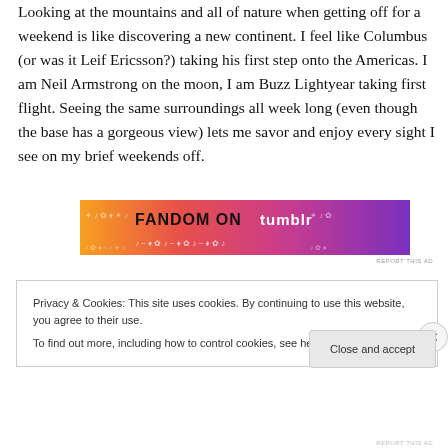Looking at the mountains and all of nature when getting off for a weekend is like discovering a new continent. I feel like Columbus (or was it Leif Ericsson?) taking his first step onto the Americas. I am Neil Armstrong on the moon, I am Buzz Lightyear taking first flight. Seeing the same surroundings all week long (even though the base has a gorgeous view) lets me savor and enjoy every sight I see on my brief weekends off.
[Figure (illustration): Colorful banner advertisement with orange, pink, and purple gradient background showing 'FANDOM ON tumblr' text with decorative music and heart symbols]
REPORT THIS AD
Privacy & Cookies: This site uses cookies. By continuing to use this website, you agree to their use.
To find out more, including how to control cookies, see here: Cookie Policy
Close and accept